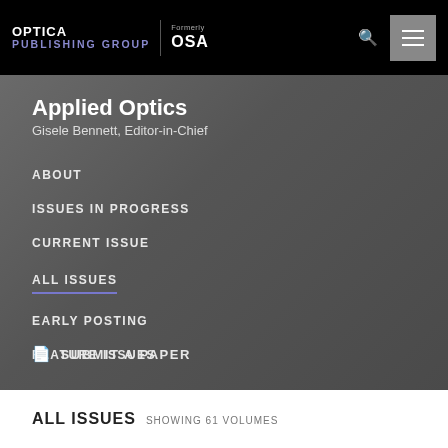OPTICA PUBLISHING GROUP | Formerly OSA
Applied Optics
Gisele Bennett, Editor-in-Chief
ABOUT
ISSUES IN PROGRESS
CURRENT ISSUE
ALL ISSUES
EARLY POSTING
FEATURE ISSUES
SUBMIT A PAPER
ALL ISSUES  SHOWING 61 VOLUMES